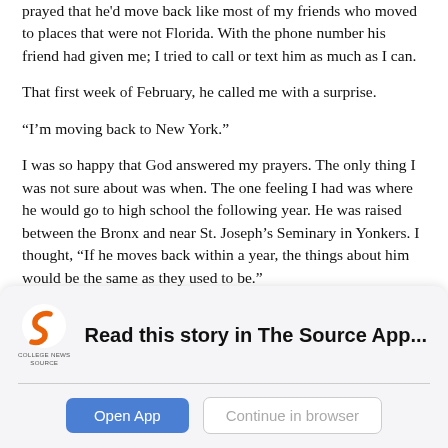prayed that he'd move back like most of my friends who moved to places that were not Florida. With the phone number his friend had given me; I tried to call or text him as much as I can.
That first week of February, he called me with a surprise.
“I’m moving back to New York.”
I was so happy that God answered my prayers. The only thing I was not sure about was when. The one feeling I had was where he would go to high school the following year. He was raised between the Bronx and near St. Joseph’s Seminary in Yonkers. I thought, “If he moves back within a year, the things about him would be the same as they used to be.”
I got accepted into Lincoln High School near the seminary. I knew
[Figure (screenshot): College News Source app banner with logo, headline 'Read this story in The Source App...', and two buttons: 'Open App' and 'Continue in browser']